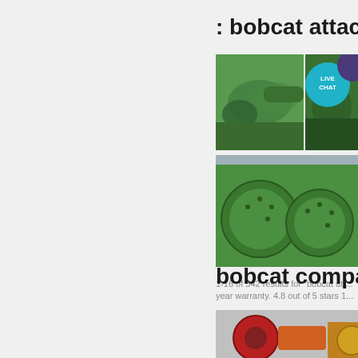: bobcat attachme
[Figure (photo): Green industrial ball mill machine, top-left photo]
[Figure (photo): Green industrial ball mill machine with LIVE CHAT badge overlay and purple circle, top-right photo]
[Figure (photo): Large green ball mills, bottom wide photo]
1-16 of 542 results for "bobcat att... year warranty. 4.8 out of 5 stars 1...
[Figure (other): Get Price button]
bobcat company b
[Figure (photo): Red and orange industrial machinery, bottom photo]